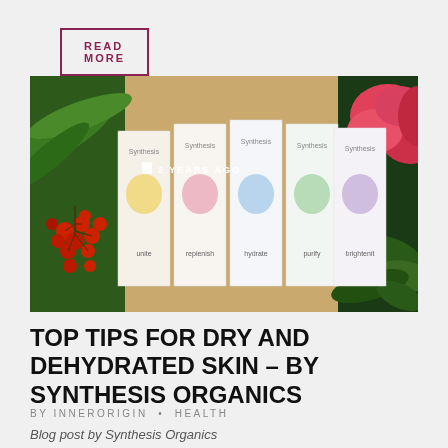READ MORE
[Figure (photo): Five Synthesis Organics skincare product boxes arranged in a gift box with straw, surrounded by green foliage and red berries on the left and pink flowers on the right. Overlay text reads '2 YEARS AGO'.]
TOP TIPS FOR DRY AND DEHYDRATED SKIN – BY SYNTHESIS ORGANICS
BY INNERORIGIN • HEALTH
Blog post by Synthesis Organics